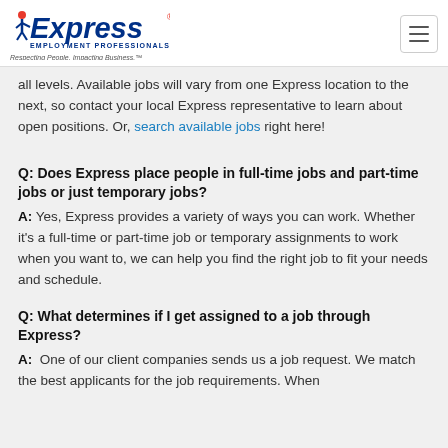Express Employment Professionals — Respecting People. Impacting Business.
all levels. Available jobs will vary from one Express location to the next, so contact your local Express representative to learn about open positions. Or, search available jobs right here!
Q: Does Express place people in full-time jobs and part-time jobs or just temporary jobs?
A: Yes, Express provides a variety of ways you can work. Whether it's a full-time or part-time job or temporary assignments to work when you want to, we can help you find the right job to fit your needs and schedule.
Q: What determines if I get assigned to a job through Express?
A: One of our client companies sends us a job request. We match the best applicants for the job requirements. When